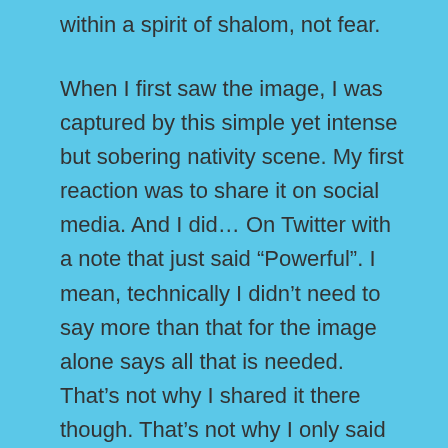within a spirit of shalom, not fear.
When I first saw the image, I was captured by this simple yet intense but sobering nativity scene. My first reaction was to share it on social media. And I did… On Twitter with a note that just said “Powerful”. I mean, technically I didn't need to say more than that for the image alone says all that is needed. That's not why I shared it there though. That's not why I only said that one word. I deliberately chose not to share it on Facebook where my post would get a lot more traction. I found myself choosing to be uncharacteristically cautious. Not because I didn't believe in it's powerful message but